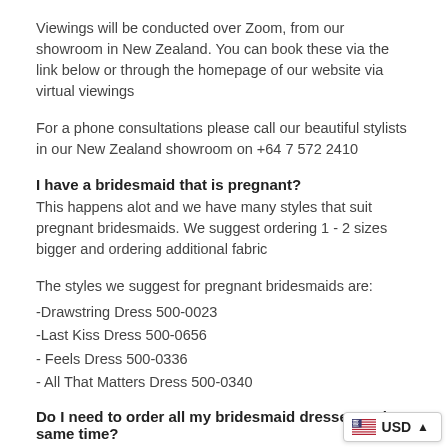Viewings will be conducted over Zoom, from our showroom in New Zealand. You can book these via the link below or through the homepage of our website via virtual viewings
For a phone consultations please call our beautiful stylists in our New Zealand showroom on +64 7 572 2410
I have a bridesmaid that is pregnant?
This happens alot and we have many styles that suit pregnant bridesmaids. We suggest ordering 1 - 2 sizes bigger and ordering additional fabric
The styles we suggest for pregnant bridesmaids are:
-Drawstring Dress 500-0023
-Last Kiss Dress 500-0656
- Feels Dress 500-0336
- All That Matters Dress 500-0340
Do I need to order all my bridesmaid dresses at the same time?
YES -  It is best to place one order for all dresses to ensur